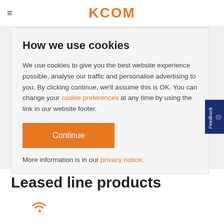KCOM
How we use cookies
We use cookies to give you the best website experience possible, analyse our traffic and personalise advertising to you. By clicking continue, we'll assume this is OK. You can change your cookie preferences at any time by using the link in our website footer.
Continue
More information is in our privacy notice.
Leased line products